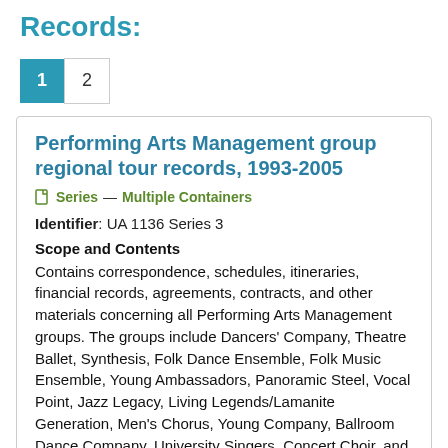Records:
1  2
Performing Arts Management group regional tour records, 1993-2005
Series — Multiple Containers
Identifier: UA 1136 Series 3
Scope and Contents
Contains correspondence, schedules, itineraries, financial records, agreements, contracts, and other materials concerning all Performing Arts Management groups. The groups include Dancers' Company, Theatre Ballet, Synthesis, Folk Dance Ensemble, Folk Music Ensemble, Young Ambassadors, Panoramic Steel, Vocal Point, Jazz Legacy, Living Legends/Lamanite Generation, Men's Chorus, Young Company, Ballroom Dance Company, University Singers, Concert Choir, and Philharmonic Orchestra, 1993-2005